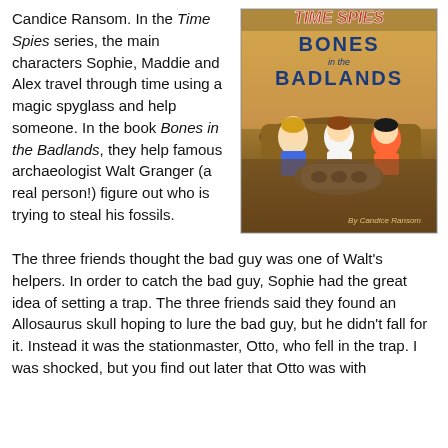Candice Ransom. In the Time Spies series, the main characters Sophie, Maddie and Alex travel through time using a magic spyglass and help someone. In the book Bones in the Badlands, they help famous archaeologist Walt Granger (a real person!) figure out who is trying to steal his fossils.
[Figure (illustration): Book cover of 'Bones in the Badlands' from the Time Spies series by Candice Ransom, showing three children examining fossils in a rocky badlands landscape.]
The three friends thought the bad guy was one of Walt's helpers. In order to catch the bad guy, Sophie had the great idea of setting a trap. The three friends said they found an Allosaurus skull hoping to lure the bad guy, but he didn't fall for it. Instead it was the stationmaster, Otto, who fell in the trap. I was shocked, but you find out later that Otto was with